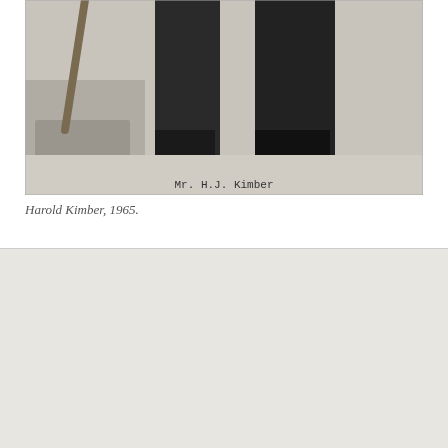[Figure (photo): Black and white photograph showing the legs and lower body of a person, with construction or stonework visible to the left. Caption reads 'Mr. H.J. Kimber' at the bottom of the image.]
Harold Kimber, 1965.
[Figure (photo): Scanned header of the Tideway newsletter — 'Tideway, The Official Newsletter of the Port of Bristol Authority, Published Monthly from the Head Office, Queen Square, Bristol 1. Tel. 25381 Ext. 290' with a silhouette of a ship on the right side. Below is a section heading 'Shipshape in Somerset' and the beginning of an article: 'A generation ago it was impossible to approach a haven on the west coast of England with—']